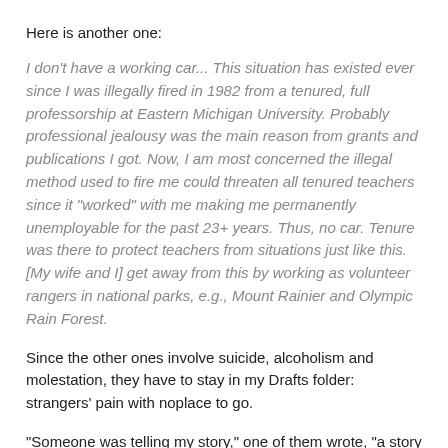Here is another one:
I don't have a working car... This situation has existed ever since I was illegally fired in 1982 from a tenured, full professorship at Eastern Michigan University. Probably professional jealousy was the main reason from grants and publications I got. Now, I am most concerned the illegal method used to fire me could threaten all tenured teachers since it "worked" with me making me permanently unemployable for the past 23+ years. Thus, no car. Tenure was there to protect teachers from situations just like this. [My wife and I] get away from this by working as volunteer rangers in national parks, e.g., Mount Rainier and Olympic Rain Forest.
Since the other ones involve suicide, alcoholism and molestation, they have to stay in my Drafts folder: strangers' pain with noplace to go.
"Someone was telling my story," one of them wrote, "a story I never knew how to tell."